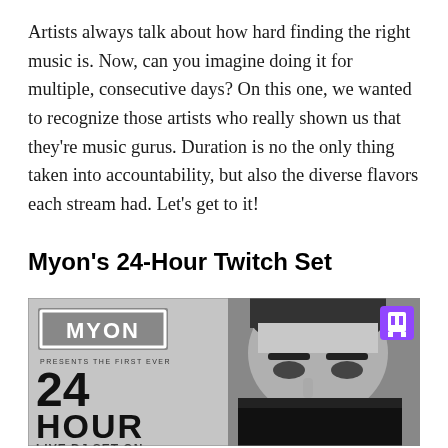Artists always talk about how hard finding the right music is. Now, can you imagine doing it for multiple, consecutive days? On this one, we wanted to recognize those artists who really shown us that they're music gurus. Duration is no the only thing taken into accountability, but also the diverse flavors each stream had. Let's get to it!
Myon's 24-Hour Twitch Set
[Figure (photo): Promotional image for Myon's 24-Hour Twitch Set. Black and white photo of a man's face partially covered. Left side has MYON logo in a box, text 'PRESENTS THE FIRST EVER', large text '24 HOUR', and 'LIVE DJ SET ON'. Twitch purple logo in top right corner.]